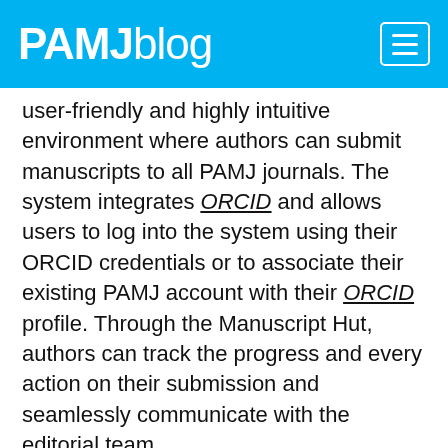PAMJblog
user-friendly and highly intuitive environment where authors can submit manuscripts to all PAMJ journals. The system integrates ORCID and allows users to log into the system using their ORCID credentials or to associate their existing PAMJ account with their ORCID profile. Through the Manuscript Hut, authors can track the progress and every action on their submission and seamlessly communicate with the editorial team.
The PAMJ Manuscript Hut (Manuscript submission and Peer Review Platform)